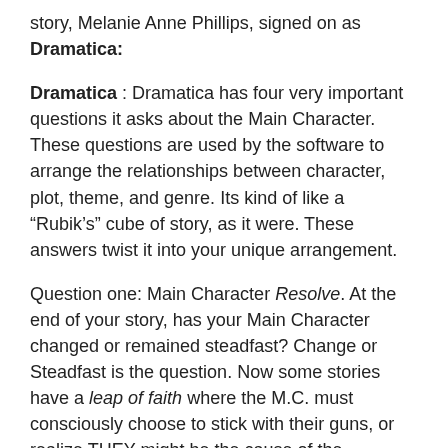story, Melanie Anne Phillips, signed on as Dramatica:
Dramatica : Dramatica has four very important questions it asks about the Main Character. These questions are used by the software to arrange the relationships between character, plot, theme, and genre. Its kind of like a “Rubik’s” cube of story, as it were. These answers twist it into your unique arrangement.
Question one: Main Character Resolve. At the end of your story, has your Main Character changed or remained steadfast? Change or Steadfast is the question. Now some stories have a leap of faith where the M.C. must consciously choose to stick with their guns, or realize THEY might be the cause of the problems and CHANGE.
Scrooge is a change character. So is Luke Skywalker. Dr. Richard Kimble, or Job in the Bible are STEADFAST characters. Hollywood often has it that a character must